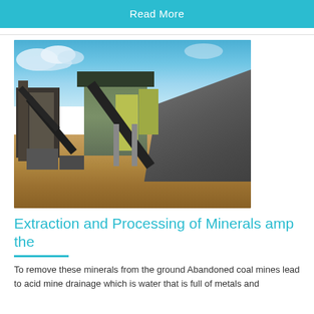Read More
[Figure (photo): A mining and mineral processing facility with conveyor belts, silos, machinery, and a large gravel/aggregate pile in the foreground. Red dirt ground, blue sky with clouds.]
Extraction and Processing of Minerals amp the
To remove these minerals from the ground Abandoned coal mines lead to acid mine drainage which is water that is full of metals and